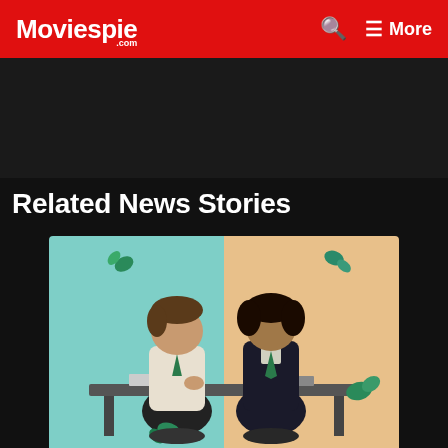Moviespie.com  🔍  ≡ More
[Figure (other): Dark advertisement banner area]
Related News Stories
[Figure (photo): Two teenage boys in school uniforms sitting across from each other at a desk. Left boy wears a white shirt with green tie, right boy wears a dark blazer with green tie. Background is split: teal/cyan on the left and peach/orange on the right. Decorative illustrated leaves/flowers scattered around them.]